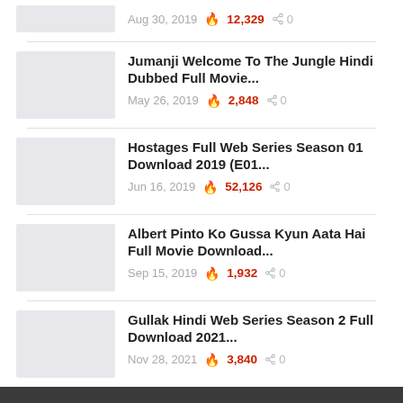Aug 30, 2019 🔥 12,329 🔗 0
Jumanji Welcome To The Jungle Hindi Dubbed Full Movie... May 26, 2019 🔥 2,848 🔗 0
Hostages Full Web Series Season 01 Download 2019 (E01... Jun 16, 2019 🔥 52,126 🔗 0
Albert Pinto Ko Gussa Kyun Aata Hai Full Movie Download... Sep 15, 2019 🔥 1,932 🔗 0
Gullak Hindi Web Series Season 2 Full Download 2021... Nov 28, 2021 🔥 3,840 🔗 0
© 2022 - Download Latest Movie Torrent With MovieTorrent.Co. All Rights Reserved.
Movie Torrent: MovieTorrent.co